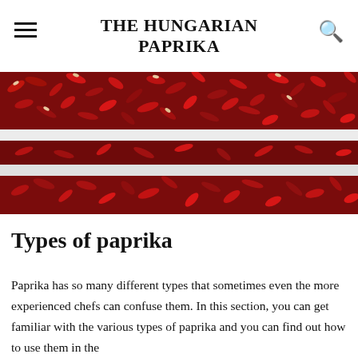THE HUNGARIAN PAPRIKA
[Figure (photo): Rows of dried red Hungarian paprika peppers hanging and displayed in dense clusters, shot from the front. The peppers are deep red with some white accents, arranged in multiple rows with white horizontal dividers visible.]
Types of paprika
Paprika has so many different types that sometimes even the more experienced chefs can confuse them. In this section, you can get familiar with the various types of paprika and you can find out how to use them in the